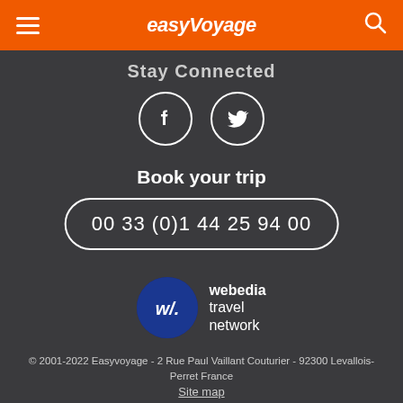easyVoyage
Stay Connected
[Figure (illustration): Facebook and Twitter social media icons in circular borders on dark background]
Book your trip
00 33 (0)1 44 25 94 00
[Figure (logo): Webedia Travel Network logo: blue circle with stylized 'w.' text beside 'webedia travel network' text]
© 2001-2022 Easyvoyage - 2 Rue Paul Vaillant Couturier - 92300 Levallois-Perret France
Site map